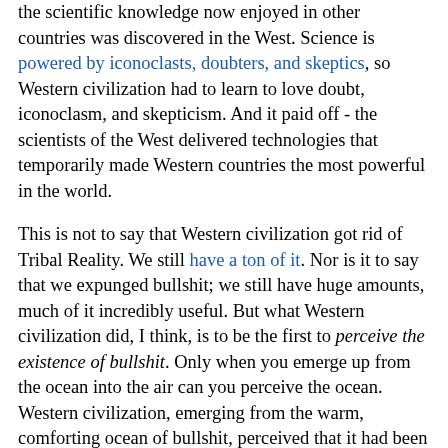the scientific knowledge now enjoyed in other countries was discovered in the West. Science is powered by iconoclasts, doubters, and skeptics, so Western civilization had to learn to love doubt, iconoclasm, and skepticism. And it paid off - the scientists of the West delivered technologies that temporarily made Western countries the most powerful in the world.
This is not to say that Western civilization got rid of Tribal Reality. We still have a ton of it. Nor is it to say that we expunged bullshit; we still have huge amounts, much of it incredibly useful. But what Western civilization did, I think, is to be the first to perceive the existence of bullshit. Only when you emerge up from the ocean into the air can you perceive the ocean. Western civilization, emerging from the warm, comforting ocean of bullshit, perceived that it had been swimming in bullshit all along.
What Western civilization had done is to discover a kind of reality that was beyond Tribal Reality, and was beyond even the more general phenomenon of Consensus Reality. They discovered Extant Reality, the reality that hits you in the head even if you and everyone you know fails to believe in it.